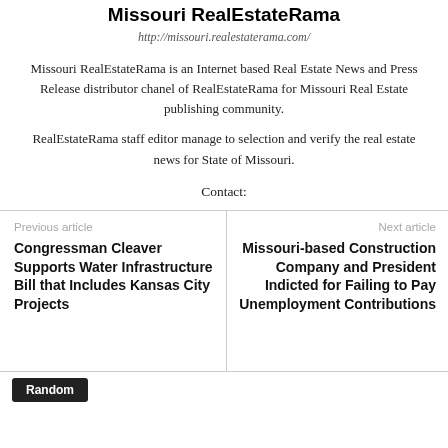Missouri RealEstateRama
http://missouri.realestaterama.com/
Missouri RealEstateRama is an Internet based Real Estate News and Press Release distributor chanel of RealEstateRama for Missouri Real Estate publishing community.
RealEstateRama staff editor manage to selection and verify the real estate news for State of Missouri.
Contact:
Previous article
Congressman Cleaver Supports Water Infrastructure Bill that Includes Kansas City Projects
Next article
Missouri-based Construction Company and President Indicted for Failing to Pay Unemployment Contributions